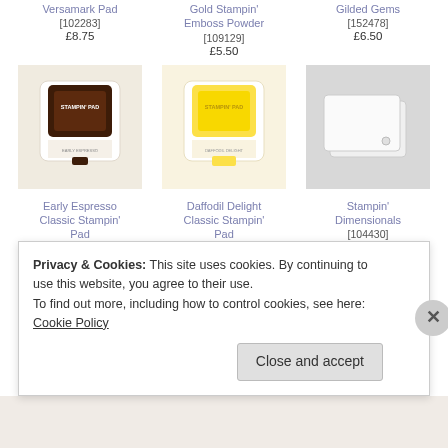Versamark Pad [102283] £8.75
Gold Stampin' Emboss Powder [109129] £5.50
Gilded Gems [152478] £6.50
[Figure (photo): Early Espresso Classic Stampin' Pad - dark brown ink pad]
[Figure (photo): Daffodil Delight Classic Stampin' Pad - yellow ink pad]
[Figure (photo): Stampin' Dimensionals - white foam adhesive squares]
Early Espresso Classic Stampin' Pad [147114] £7.00
Daffodil Delight Classic Stampin' Pad [147094] £7.00
Stampin' Dimensionals [104430] £3.75
Advertisements
Privacy & Cookies: This site uses cookies. By continuing to use this website, you agree to their use.
To find out more, including how to control cookies, see here: Cookie Policy
Close and accept